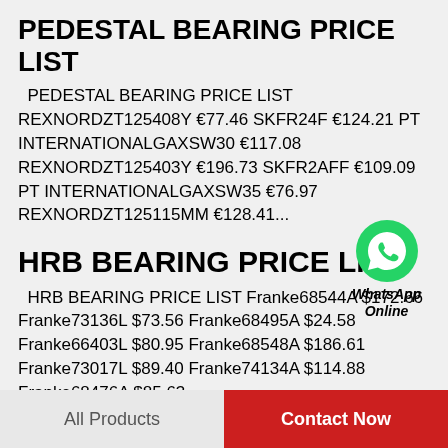PEDESTAL BEARING PRICE LIST
PEDESTAL BEARING PRICE LIST REXNORDZT125408Y €77.46 SKFR24F €124.21 PT INTERNATIONALGAXSW30 €117.08 REXNORDZT125403Y €196.73 SKFR2AFF €109.09 PT INTERNATIONALGAXSW35 €76.97 REXNORDZT125115MM €128.41...
[Figure (logo): WhatsApp green circle logo with phone icon, labeled WhatsApp Online in italic bold]
HRB BEARING PRICE LIST
HRB BEARING PRICE LIST Franke68544A $172.66 Franke73136L $73.56 Franke68495A $24.58 Franke66403L $80.95 Franke68548A $186.61 Franke73017L $89.40 Franke74134A $114.88 Franke68476A $85.63...
All Products    Contact Now